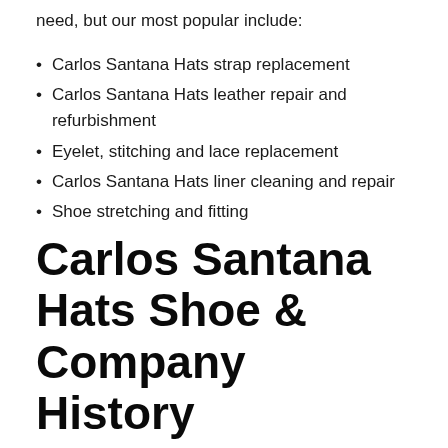need, but our most popular include:
Carlos Santana Hats strap replacement
Carlos Santana Hats leather repair and refurbishment
Eyelet, stitching and lace replacement
Carlos Santana Hats liner cleaning and repair
Shoe stretching and fitting
Carlos Santana Hats Shoe & Company History